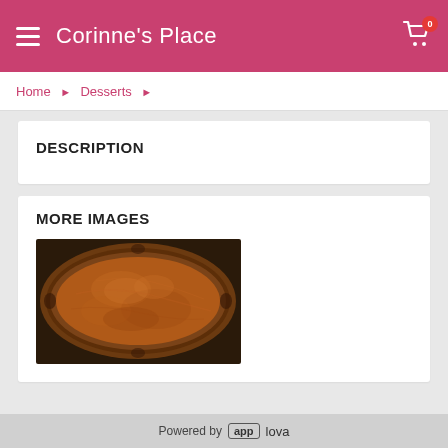Corinne's Place
Home › Desserts ›
DESCRIPTION
MORE IMAGES
[Figure (photo): Close-up photo of a pumpkin pie in a crimped crust, showing the smooth orange-brown filling, viewed from above at slight angle.]
Powered by applova